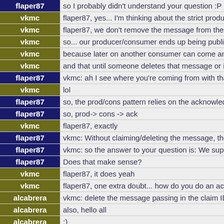| User | Message |
| --- | --- |
| flaper87 | so I probably didn't understand your question :P |
| vkmc | flaper87, yes... I'm thinking about the strict produc... |
| vkmc | flaper87, we don't remove the message from the qu... |
| vkmc | so... our producer/consumer ends up being publish... |
| vkmc | because later on another consumer can come and c... |
| vkmc | and that until someone deletes that message or it ex... |
| flaper87 | vkmc: ah I see where you're coming from with tha... |
| vkmc | lol |
| flaper87 | so, the prod/cons pattern relies on the acknowledge... |
| flaper87 | so, prod-> cons -> ack |
| vkmc | flaper87, exactly |
| flaper87 | vkmc: Without claiming/deleting the message, the ... |
| flaper87 | vkmc: so the answer to your question is: We suppo... |
| flaper87 | Does that make sense? |
| vkmc | flaper87, it does yeah |
| vkmc | flaper87, one extra doubt... how do you do an ack m... |
| alcabrera | vkmc: delete the message passing in the claim ID |
| alcabrera | also, hello all |
| alcabrera | :) |
| alcabrera | http delete /v1/queues/{queue}/messages/{msg_id... |
| vkmc | alcabrera, cool, so there is no prod/cons without cl... |